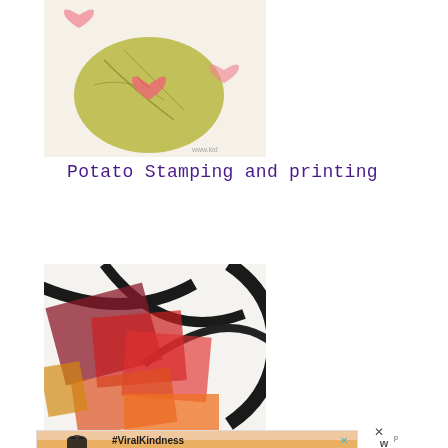[Figure (photo): Heart-shaped potato stamp on a yellow-green potato, with pink heart prints on white paper background]
Potato Stamping and printing
[Figure (photo): Colorful transparent colored acetate or gel sheets in red, orange, and other colors with bold black curved lines on white background]
[Figure (photo): Advertisement banner showing #ViralKindness with heart hands silhouette, with close X button and W logo]